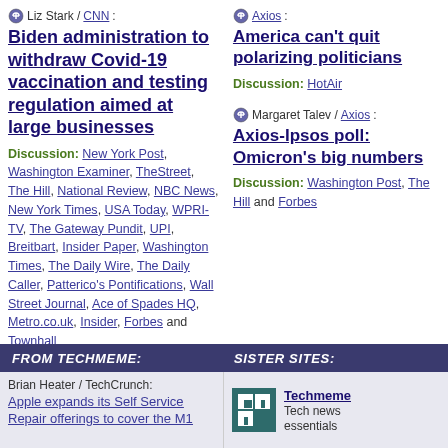Liz Stark / CNN: Biden administration to withdraw Covid-19 vaccination and testing regulation aimed at large businesses
Discussion: New York Post, Washington Examiner, TheStreet, The Hill, National Review, NBC News, New York Times, USA Today, WPRI-TV, The Gateway Pundit, UPI, Breitbart, Insider Paper, Washington Times, The Daily Wire, The Daily Caller, Patterico's Pontifications, Wall Street Journal, Ace of Spades HQ, Metro.co.uk, Insider, Forbes and Townhall
Axios: America can't quit polarizing politicians
Discussion: HotAir
Margaret Talev / Axios: Axios-Ipsos poll: Omicron's big numbers
Discussion: Washington Post, The Hill and Forbes
FROM TECHMEME:   SISTER SITES:
Brian Heater / TechCrunch: Apple expands its Self Service Repair offerings to cover the M1
Techmeme Tech news essentials